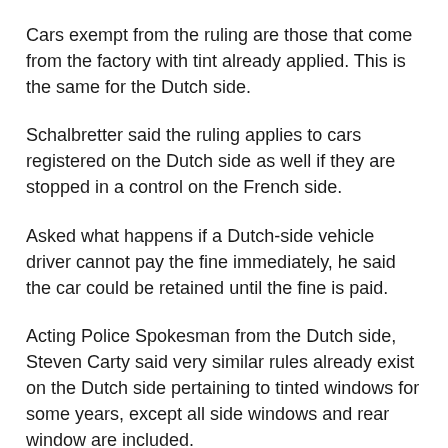Cars exempt from the ruling are those that come from the factory with tint already applied. This is the same for the Dutch side.
Schalbretter said the ruling applies to cars registered on the Dutch side as well if they are stopped in a control on the French side.
Asked what happens if a Dutch-side vehicle driver cannot pay the fine immediately, he said the car could be retained until the fine is paid.
Acting Police Spokesman from the Dutch side, Steven Carty said very similar rules already exist on the Dutch side pertaining to tinted windows for some years, except all side windows and rear window are included.